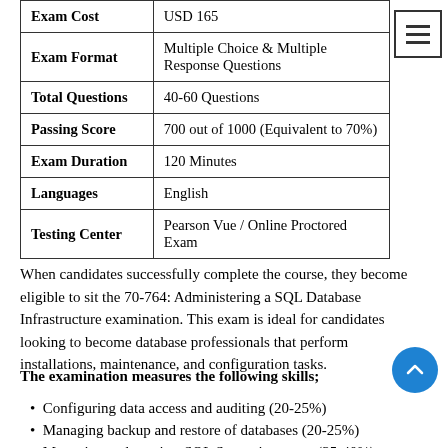| Exam Cost | USD 165 |
| Exam Format | Multiple Choice & Multiple Response Questions |
| Total Questions | 40-60 Questions |
| Passing Score | 700 out of 1000 (Equivalent to 70%) |
| Exam Duration | 120 Minutes |
| Languages | English |
| Testing Center | Pearson Vue / Online Proctored Exam |
When candidates successfully complete the course, they become eligible to sit the 70-764: Administering a SQL Database Infrastructure examination. This exam is ideal for candidates looking to become database professionals that perform installations, maintenance, and configuration tasks.
The examination measures the following skills;
Configuring data access and auditing (20-25%)
Managing backup and restore of databases (20-25%)
Managing and monitor SQL Server instances (35-40%)